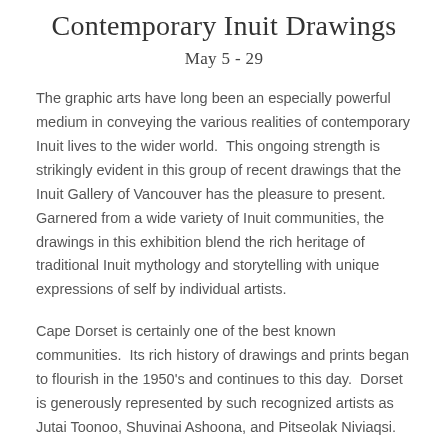Contemporary Inuit Drawings
May 5 - 29
The graphic arts have long been an especially powerful medium in conveying the various realities of contemporary Inuit lives to the wider world.  This ongoing strength is strikingly evident in this group of recent drawings that the Inuit Gallery of Vancouver has the pleasure to present.  Garnered from a wide variety of Inuit communities, the drawings in this exhibition blend the rich heritage of traditional Inuit mythology and storytelling with unique expressions of self by individual artists.
Cape Dorset is certainly one of the best known communities.  Its rich history of drawings and prints began to flourish in the 1950's and continues to this day.  Dorset is generously represented by such recognized artists as Jutai Toonoo, Shuvinai Ashoona, and Pitseolak Niviaqsi.